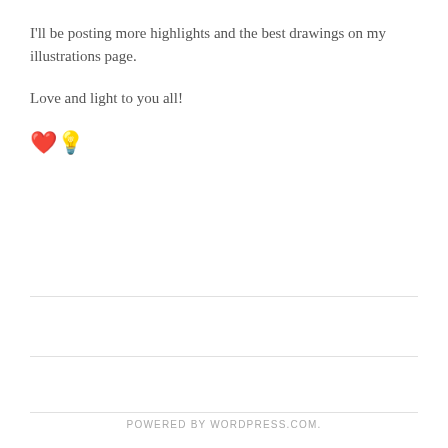I'll be posting more highlights and the best drawings on my illustrations page.
Love and light to you all!
❤️💡
POWERED BY WORDPRESS.COM.